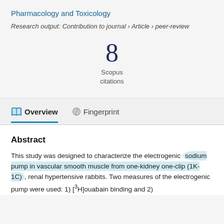Pharmacology and Toxicology
Research output: Contribution to journal › Article › peer-review
[Figure (infographic): Scopus citations count showing the number 8 with label 'Scopus citations' below it]
Overview
Fingerprint
Abstract
This study was designed to characterize the electrogenic sodium pump in vascular smooth muscle from one-kidney one-clip (1K-1C), renal hypertensive rabbits. Two measures of the electrogenic pump were used: 1) [3H]ouabain binding and 2)